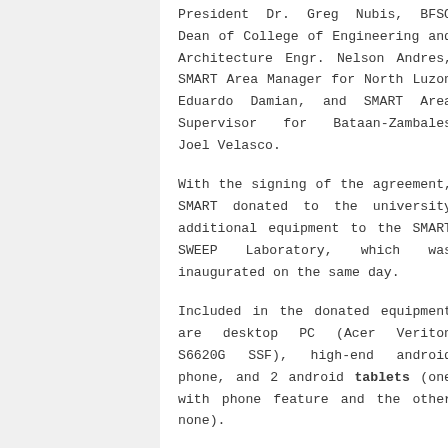President Dr. Greg Nubis, BFSO Dean of College of Engineering and Architecture Engr. Nelson Andres, SMART Area Manager for North Luzon Eduardo Damian, and SMART Area Supervisor for Bataan-Zambales Joel Velasco.
With the signing of the agreement, SMART donated to the university additional equipment to the SMART SWEEP Laboratory, which was inaugurated on the same day.
Included in the donated equipment are desktop PC (Acer Veriton S6620G SSF), high-end android phone, and 2 android tablets (one with phone feature and the other none).